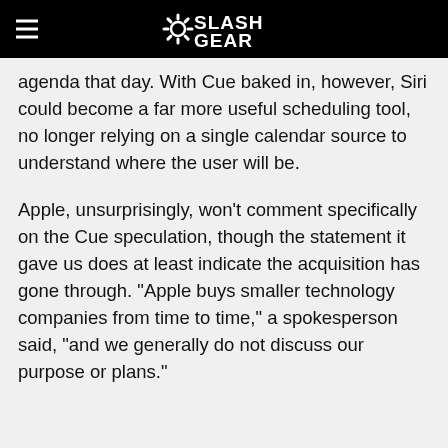SlashGear
agenda that day. With Cue baked in, however, Siri could become a far more useful scheduling tool, no longer relying on a single calendar source to understand where the user will be.
Apple, unsurprisingly, won't comment specifically on the Cue speculation, though the statement it gave us does at least indicate the acquisition has gone through. "Apple buys smaller technology companies from time to time," a spokesperson said, "and we generally do not discuss our purpose or plans."